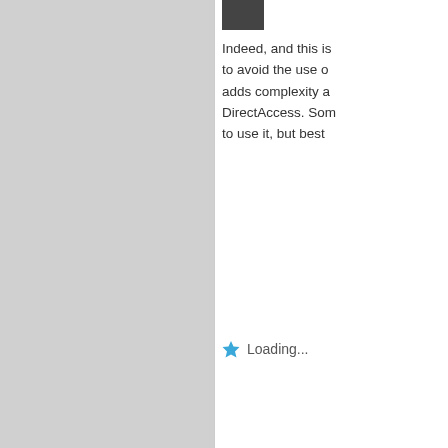[Figure (photo): Small avatar photo of a person (dark image, top of comment thread)]
Indeed, and this is to avoid the use of adds complexity a DirectAccess. Som to use it, but best
Loading...
[Figure (illustration): Pixelated/mosaic style avatar for user Rune Flo]
Rune Flo / May 6, 2
Hi Steve, I have been strug also ignored Get- Errors) thinking it above post and cl NRPT working as I also think NRPT configuration, bec